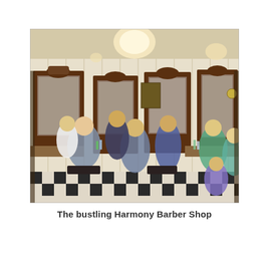[Figure (photo): Interior of the Harmony Barber Shop showing barbers cutting hair of customers seated in vintage barber chairs. The shop has ornate dark wood mirror frames, white beadboard walls, a black and white checkered floor, and warm ceiling lights. Multiple barbers and customers are visible, with people watching from the sides.]
The bustling Harmony Barber Shop